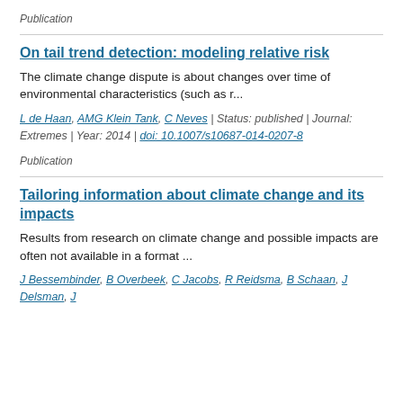Publication
On tail trend detection: modeling relative risk
The climate change dispute is about changes over time of environmental characteristics (such as r...
L de Haan, AMG Klein Tank, C Neves | Status: published | Journal: Extremes | Year: 2014 | doi: 10.1007/s10687-014-0207-8
Publication
Tailoring information about climate change and its impacts
Results from research on climate change and possible impacts are often not available in a format ...
J Bessembinder, B Overbeek, C Jacobs, R Reidsma, B Schaan, J Delsman, J